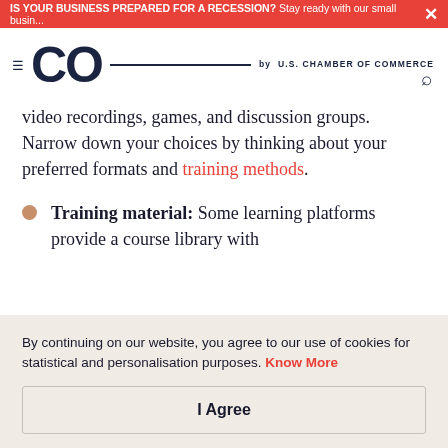IS YOUR BUSINESS PREPARED FOR A RECESSION? Stay ready with our small busin... ×
[Figure (logo): CO by U.S. Chamber of Commerce logo with hamburger menu and search icon]
video recordings, games, and discussion groups. Narrow down your choices by thinking about your preferred formats and training methods.
Training material: Some learning platforms provide a course library with
By continuing on our website, you agree to our use of cookies for statistical and personalisation purposes. Know More
I Agree